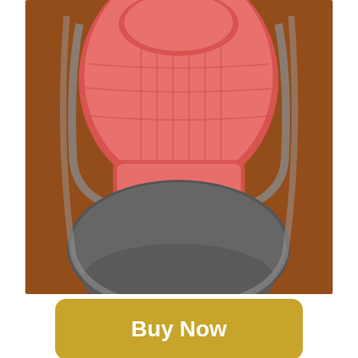[Figure (photo): A stroller footmuff/sleeping bag open flat, showing a pink/coral quilted inner lining on the top half and dark gray outer fabric on the bottom half, with a brand logo visible. Laid on a patterned carpet background.]
Buy Now
Soft and insulated, you can be sure that your child stays warm and comfy at all times, never